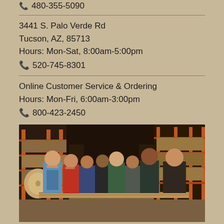📞 480-355-5090
3441 S. Palo Verde Rd
Tucson, AZ, 85713
Hours: Mon-Sat, 8:00am-5:00pm
📞 520-745-8301
Online Customer Service & Ordering
Hours: Mon-Fri, 6:00am-3:00pm
📞 800-423-2450
[Figure (photo): Group of 8 employees posing in a lumber/flooring warehouse with tall orange metal shelving racks filled with wood panels. Workers are smiling and standing behind a counter with long wood planks. Some wear green branded shirts.]